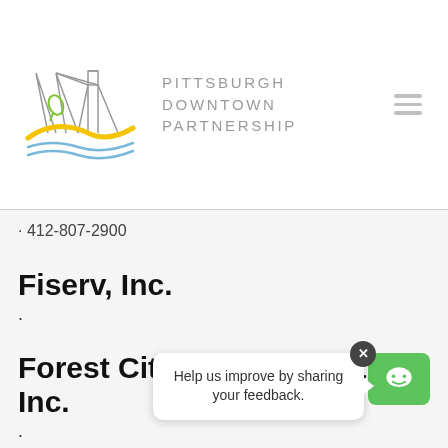[Figure (logo): Pittsburgh Downtown Partnership logo with bridge/mountain illustration and yellow/blue wave stripes]
PITTSBURGH DOWNTOWN PARTNERSHIP
· 412-807-2900
Fiserv, Inc.
·
Forest City Management, Inc.
·